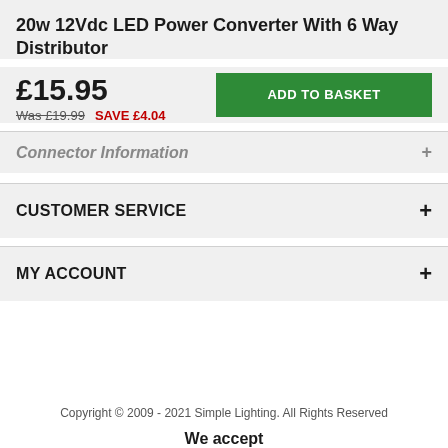20w 12Vdc LED Power Converter With 6 Way Distributor
£15.95
Was £19.99  SAVE £4.04
ADD TO BASKET
Connector Information
CUSTOMER SERVICE
MY ACCOUNT
Copyright © 2009 - 2021 Simple Lighting. All Rights Reserved
We accept